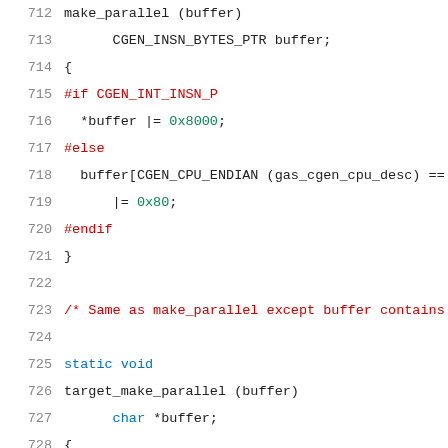[Figure (screenshot): Source code listing lines 712-733 in C with syntax highlighting. Line numbers in gray on left, code with colored tokens (blue for keywords, red for preprocessor directives and comments, green for numeric literals).]